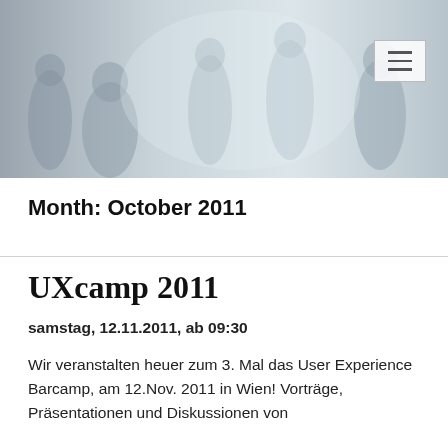[Figure (photo): Header banner showing blurred silhouettes of people in a conference/event setting, with a UX Vienna logo overlay in the top-left and a hamburger menu button in the top-right.]
Month: October 2011
UXcamp 2011
samstag, 12.11.2011, ab 09:30
Wir veranstalten heuer zum 3. Mal das User Experience Barcamp, am 12.Nov. 2011 in Wien! Vorträge, Präsentationen und Diskussionen von